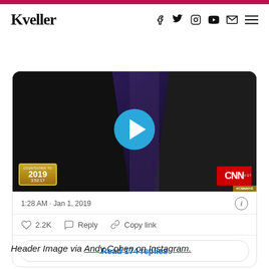Kveller
[Figure (screenshot): Embedded tweet screenshot showing a CNN New Year's Eve 2019 video with a play button overlay, countdown badge showing 2019 / 3:52:17, CNN logo, and #CNNNYE hashtag. Below the video: timestamp '1:28 AM · Jan 1, 2019', heart icon with 2.2K likes, Reply, Copy link actions, and a 'Read 174 replies' button.]
Header Image via Andy Cohen on Instagram.